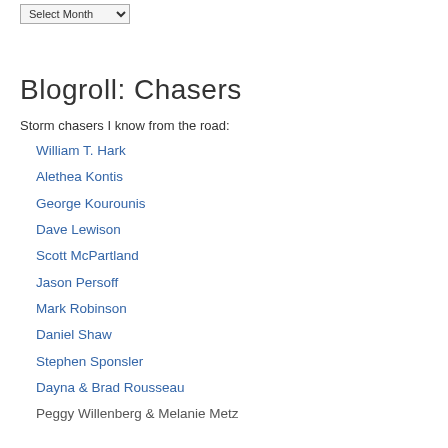Blogroll: Chasers
Storm chasers I know from the road:
William T. Hark
Alethea Kontis
George Kourounis
Dave Lewison
Scott McPartland
Jason Persoff
Mark Robinson
Daniel Shaw
Stephen Sponsler
Dayna & Brad Rousseau
Peggy Willenberg & Melanie Metz